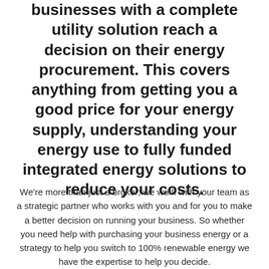businesses with a complete utility solution reach a decision on their energy procurement. This covers anything from getting you a good price for your energy supply, understanding your energy use to fully funded integrated energy solutions to reduce your costs.
We're more than just a broker; we work with your team as a strategic partner who works with you and for you to make a better decision on running your business. So whether you need help with purchasing your business energy or a strategy to help you switch to 100% renewable energy we have the expertise to help you decide.